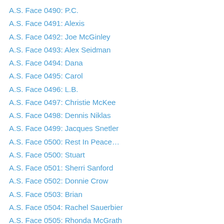A.S. Face 0490: P.C.
A.S. Face 0491: Alexis
A.S. Face 0492: Joe McGinley
A.S. Face 0493: Alex Seidman
A.S. Face 0494: Dana
A.S. Face 0495: Carol
A.S. Face 0496: L.B.
A.S. Face 0497: Christie McKee
A.S. Face 0498: Dennis Niklas
A.S. Face 0499: Jacques Snetler
A.S. Face 0500: Rest In Peace…
A.S. Face 0500: Stuart
A.S. Face 0501: Sherri Sanford
A.S. Face 0502: Donnie Crow
A.S. Face 0503: Brian
A.S. Face 0504: Rachel Sauerbier
A.S. Face 0505: Rhonda McGrath
A.S. Face 0506: Gail Chamberlain
A.S. Face 0507: Brenda Dunn
A.S. Face 0508: Asim Hussain